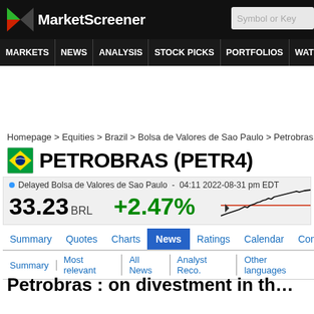MarketScreener | Symbol or Key
MARKETS NEWS ANALYSIS STOCK PICKS PORTFOLIOS WATCHLI...
Homepage > Equities > Brazil > Bolsa de Valores de Sao Paulo > Petrobras > Ne...
PETROBRAS (PETR4)
Delayed Bolsa de Valores de Sao Paulo - 04:11 2022-08-31 pm EDT
33.23 BRL   +2.47%
[Figure (line-chart): Mini stock price chart showing upward trend with a red horizontal reference line]
Summary | Quotes | Charts | News | Ratings | Calendar | Company
Summary | Most relevant | All News | Analyst Reco. | Other languages
Petrobras : on divestment in th...